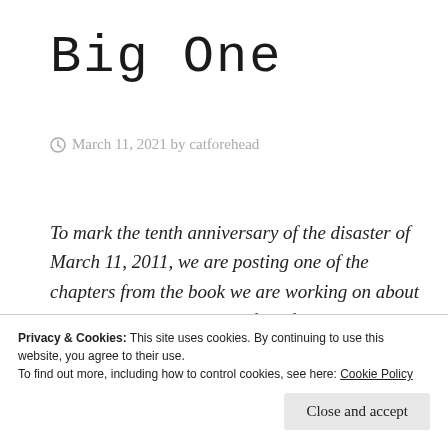Big One
March 11, 2021 by catforehead
To mark the tenth anniversary of the disaster of March 11, 2011, we are posting one of the chapters from the book we are working on about Japanese housing. Some of the following appeared in slightly different form in the anthology known as #quakebook. For those who may be interested, we have been looking for a publisher or agent to
Privacy & Cookies: This site uses cookies. By continuing to use this website, you agree to their use.
To find out more, including how to control cookies, see here: Cookie Policy
Close and accept